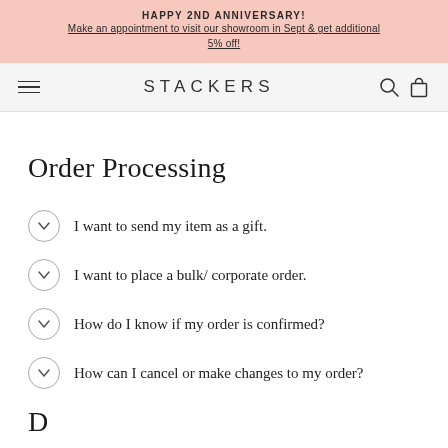HAPPY 2ND ANNIVERSARY! Make an appointment to visit our showroom in Sept & get additional 5% off!
STACKERS
Order Processing
I want to send my item as a gift.
I want to place a bulk/ corporate order.
How do I know if my order is confirmed?
How can I cancel or make changes to my order?
D...